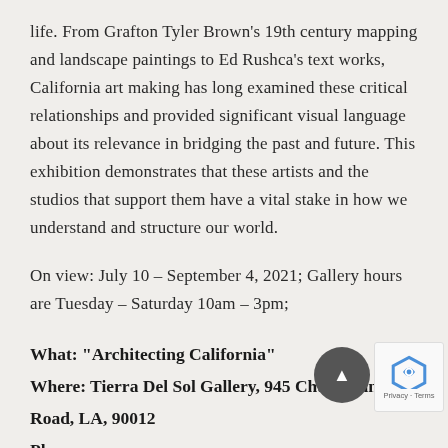life. From Grafton Tyler Brown's 19th century mapping and landscape paintings to Ed Rushca's text works, California art making has long examined these critical relationships and provided significant visual language about its relevance in bridging the past and future. This exhibition demonstrates that these artists and the studios that support them have a vital stake in how we understand and structure our world.
On view: July 10 – September 4, 2021; Gallery hours are Tuesday – Saturday 10am – 3pm;
What: "Architecting California"
Where: Tierra Del Sol Gallery, 945 Chung King Road, LA, 90012
Phone: ...